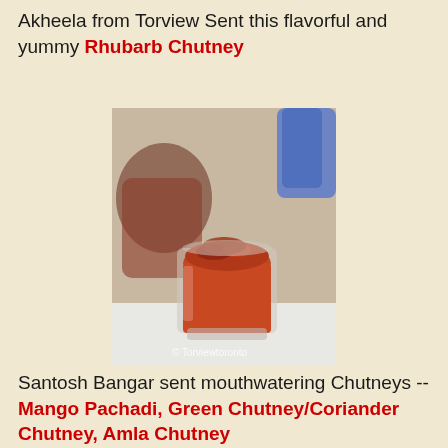Akheela from Torview Sent this flavorful and yummy Rhubarb Chutney
[Figure (photo): A glass filled with rhubarb chutney, reddish-orange in color, on a white cloth background with a blurred blue object and another glass in the background. Watermark: © Torviewtoronto]
Santosh Bangar sent mouthwatering Chutneys -- Mango Pachadi, Green Chutney/Coriander Chutney, Amla Chutney